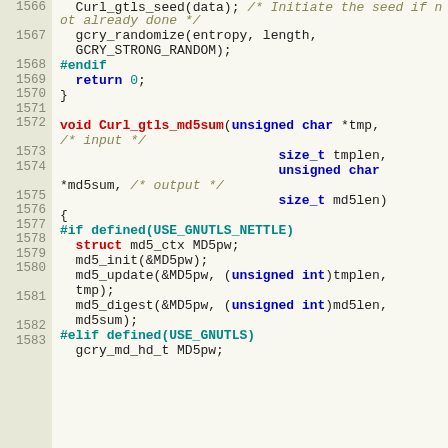Source code listing lines 1566-1583 showing C code for Curl_gtls_seed and Curl_gtls_md5sum functions